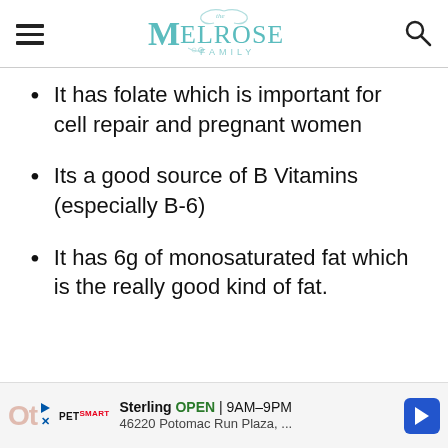The Melrose Family
It has folate which is important for cell repair and pregnant women
Its a good source of B Vitamins (especially B-6)
It has 6g of monosaturated fat which is the really good kind of fat.
Sterling OPEN 9AM–9PM 46220 Potomac Run Plaza, ...